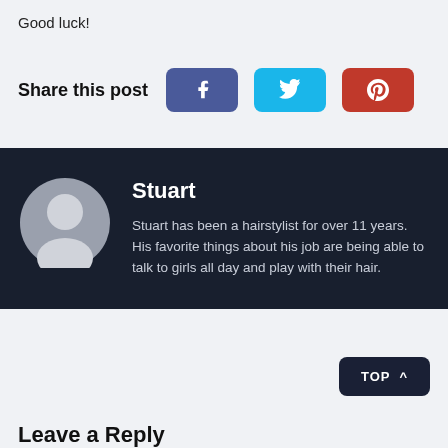Good luck!
Share this post
[Figure (other): Social share buttons: Facebook (blue), Twitter (cyan), Pinterest (red)]
Stuart
Stuart has been a hairstylist for over 11 years. His favorite things about his job are being able to talk to girls all day and play with their hair.
TOP ^
Leave a Reply